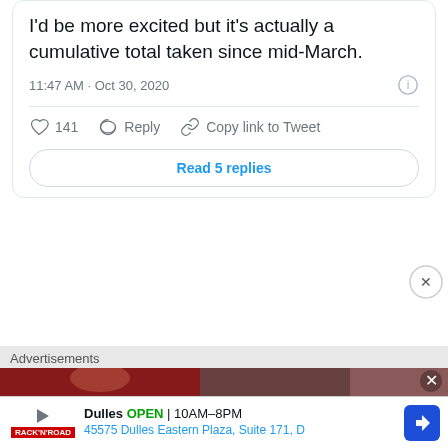I'd be more excited but it's actually a cumulative total taken since mid-March.
11:47 AM · Oct 30, 2020
141  Reply  Copy link to Tweet
Read 5 replies
Advertisements
Dulles  OPEN | 10AM–8PM  45575 Dulles Eastern Plaza, Suite 171, D